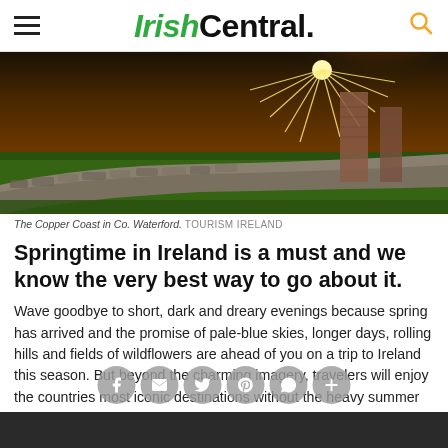IrishCentral.
[Figure (photo): The Copper Coast in Co. Waterford — a scenic Irish landscape at sunset with stone walls, green grass, and sun rays bursting through ruins]
The Copper Coast in Co. Waterford. TOURISM IRELAND
Springtime in Ireland is a must and we know the very best way to go about it.
Wave goodbye to short, dark and dreary evenings because spring has arrived and the promise of pale-blue skies, longer days, rolling hills and fields of wildflowers are ahead of you on a trip to Ireland this season. But beyond the charming imagery, travelers will enjoy the countries most iconic destinations without the heavy summer crowds.